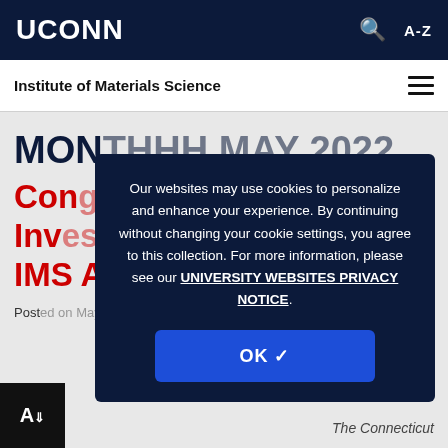UCONN
Institute of Materials Science
MONTH: MAY 2022
Congratulations to Young Investigator Winner of IMS Award
Posted on May 27, 20...
Our websites may use cookies to personalize and enhance your experience. By continuing without changing your cookie settings, you agree to this collection. For more information, please see our UNIVERSITY WEBSITES PRIVACY NOTICE.
OK ✓
The Connecticut